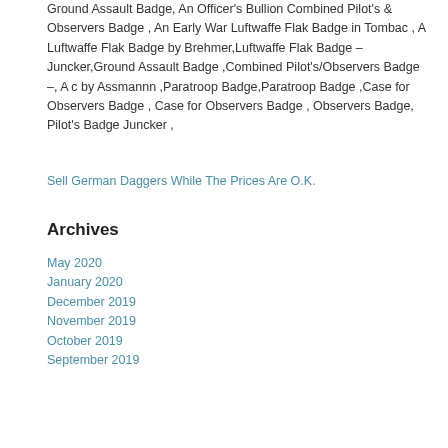Ground Assault Badge, An Officer's Bullion Combined Pilot's & Observers Badge , An Early War Luftwaffe Flak Badge in Tombac , A Luftwaffe Flak Badge by Brehmer,Luftwaffe Flak Badge – Juncker,Ground Assault Badge ,Combined Pilot's/Observers Badge –, A c by Assmannn ,Paratroop Badge,Paratroop Badge ,Case for Observers Badge , Case for Observers Badge , Observers Badge, Pilot's Badge Juncker ,
Sell German Daggers While The Prices Are O.K.
Archives
May 2020
January 2020
December 2019
November 2019
October 2019
September 2019